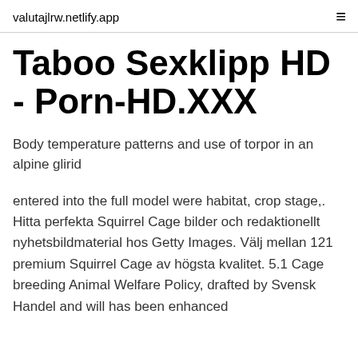valutajlrw.netlify.app
Taboo Sexklipp HD - Porn-HD.XXX
Body temperature patterns and use of torpor in an alpine glirid
entered into the full model were habitat, crop stage,. Hitta perfekta Squirrel Cage bilder och redaktionellt nyhetsbildmaterial hos Getty Images. Välj mellan 121 premium Squirrel Cage av högsta kvalitet. 5.1 Cage breeding Animal Welfare Policy, drafted by Svensk Handel and will has been enhanced